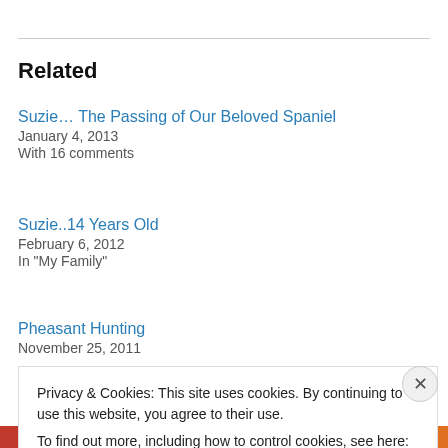Related
Suzie… The Passing of Our Beloved Spaniel
January 4, 2013
With 16 comments
Suzie..14 Years Old
February 6, 2012
In "My Family"
Pheasant Hunting
November 25, 2011
Privacy & Cookies: This site uses cookies. By continuing to use this website, you agree to their use.
To find out more, including how to control cookies, see here: Cookie Policy